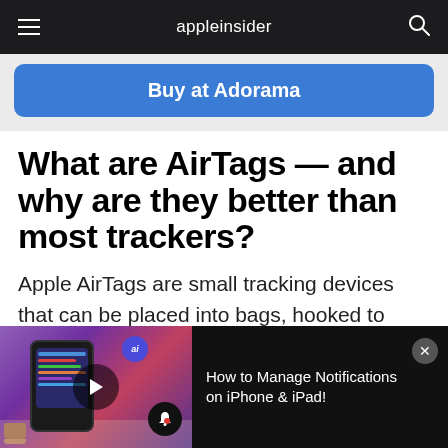appleinsider
[Figure (other): Buy at Adorama button/advertisement banner with blue rounded rectangle button]
What are AirTags — and why are they better than most trackers?
Apple AirTags are small tracking devices that can be placed into bags, hooked to keys, or otherwise attached to items that you want to be
[Figure (screenshot): Video overlay bar at bottom: thumbnail showing iPhone with notification UI on purple/pink background, ai badge, play button, bell icon. Title reads: How to Manage Notifications on iPhone & iPad!]